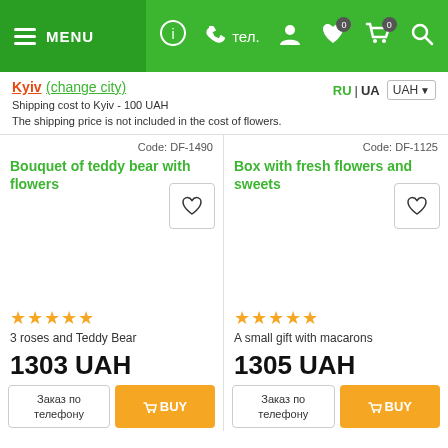MENU | тел.
Kyiv (change city)
Shipping cost to Kyiv - 100 UAH
The shipping price is not included in the cost of flowers.
RU | UA  UAH
Code: DF-1490
Bouquet of teddy bear with flowers
3 roses and Teddy Bear
1303 UAH
Code: DF-1125
Box with fresh flowers and sweets
A small gift with macarons
1305 UAH